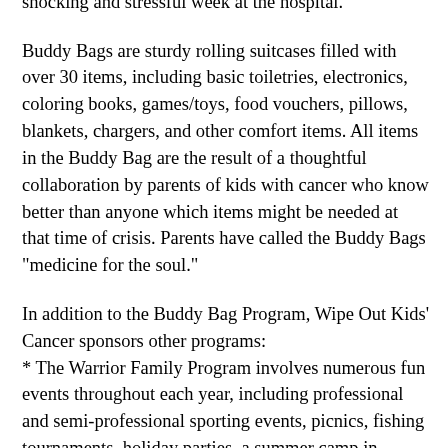diagnosis to cover their family needs for that first shocking and stressful week at the hospital.
Buddy Bags are sturdy rolling suitcases filled with over 30 items, including basic toiletries, electronics, coloring books, games/toys, food vouchers, pillows, blankets, chargers, and other comfort items. All items in the Buddy Bag are the result of a thoughtful collaboration by parents of kids with cancer who know better than anyone which items might be needed at that time of crisis. Parents have called the Buddy Bags "medicine for the soul."
In addition to the Buddy Bag Program, Wipe Out Kids' Cancer sponsors other programs:
* The Warrior Family Program involves numerous fun events throughout each year, including professional and semi-professional sporting events, picnics, fishing tournaments, holiday parties, a summer camp in Maine, and more.
* The Research Program: In its 40-year history, WOKC has provided $7 million in seed money for its novel research projects, which have received $22 million in additional grant money over these past 40 years. Wipe Out Kids' Cancer has maintained focus on childhood cancer research by funding projects to increase survival